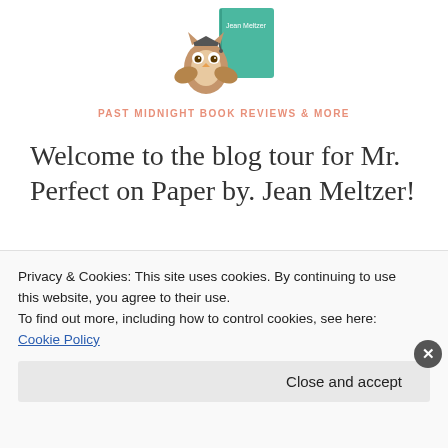[Figure (logo): Owl with book illustration and 'PAST MIDNIGHT BOOK REVIEWS & MORE' site header logo]
Welcome to the blog tour for Mr. Perfect on Paper by. Jean Meltzer!
[Figure (illustration): ARC REVIEW badge with owl icon and crescent moon decoration]
Privacy & Cookies: This site uses cookies. By continuing to use this website, you agree to their use.
To find out more, including how to control cookies, see here: Cookie Policy
Close and accept